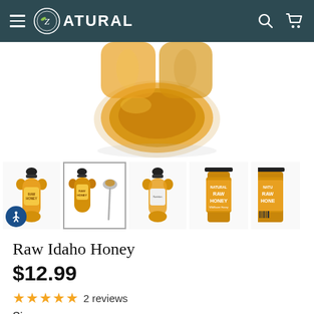NATURAL (logo) — navigation header with hamburger menu, search, and cart icons
[Figure (photo): Close-up bottom view of a large bear-shaped honey bottle filled with golden honey, on white background]
[Figure (photo): Row of product thumbnail images: bear-shaped honey bottle front view, honey bear with spoon on white background (selected/active), bear bottle back view, large square honey bottle with RAW HONEY label, partial view of another RAW HONEY bottle. Accessibility icon (wheelchair) overlaid at bottom-left.]
Raw Idaho Honey
$12.99
★★★★★ 2 reviews
Size